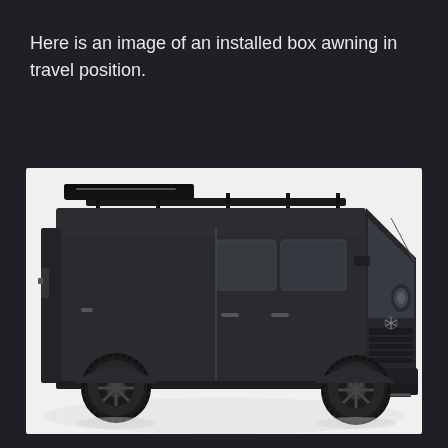Here is an image of an installed box awning in travel position.
[Figure (photo): A black Mercedes-Benz Sprinter van with a box awning installed on the roof rack in travel (closed/folded) position. The van is photographed against a white studio background. The van is dark matte grey/black, sits on large off-road tires with black alloy wheels, and has a roof rack with the awning box mounted on the driver's side.]